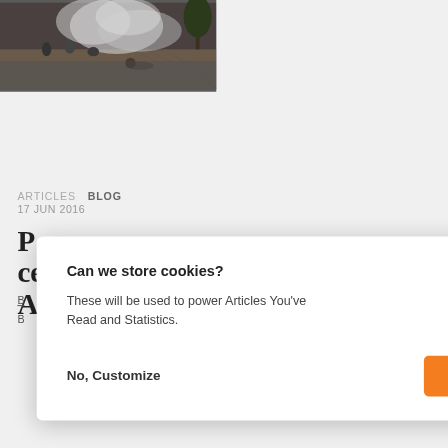[Figure (photo): Chaotic outdoor scene with people, smoke, and paved ground]
ARTICLES  BLOG
17 JUN 2016
...central A...
B
B
Can we store cookies?
These will be used to power Articles You've Read and Statistics.
No, Customize    This is okay
[Figure (photo): Refugee camp with white tents and trees in the background]
[Figure (other): Orange toggle switch icon on white circle]